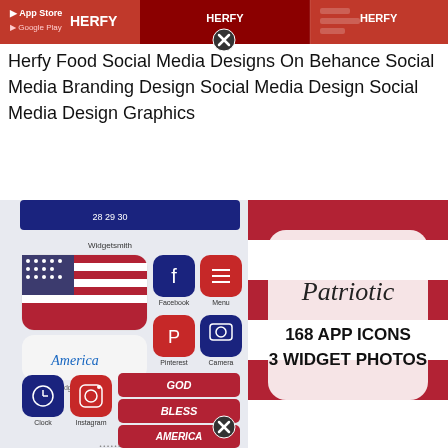[Figure (screenshot): Red banner with Herfy branding and app store buttons at top]
Herfy Food Social Media Designs On Behance Social Media Branding Design Social Media Design Social Media Design Graphics
[Figure (screenshot): Two-panel image: left panel shows a patriotic iPhone home screen with American flag, app icons (Facebook, Menu, Pinterest, Camera, Clock, Instagram, Maps, Google), widgetsmith widgets showing GOD BLESS AMERICA text; right panel shows a promotional card reading 'Patriotic 168 APP ICONS 3 WIDGET PHOTOS' with red white and blue flag background]